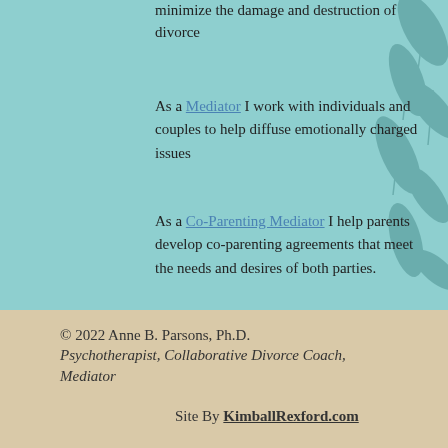minimize the damage and destruction of divorce
As a Mediator I work with individuals and couples to help diffuse emotionally charged issues
As a Co-Parenting Mediator I help parents develop co-parenting agreements that meet the needs and desires of both parties.
© 2022 Anne B. Parsons, Ph.D.
Psychotherapist, Collaborative Divorce Coach, Mediator
Site By KimballRexford.com